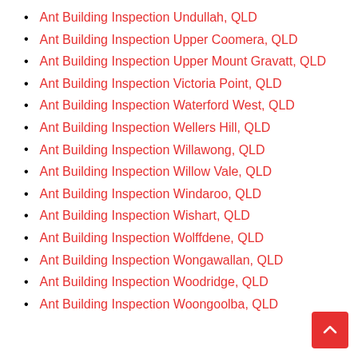Ant Building Inspection Undullah, QLD
Ant Building Inspection Upper Coomera, QLD
Ant Building Inspection Upper Mount Gravatt, QLD
Ant Building Inspection Victoria Point, QLD
Ant Building Inspection Waterford West, QLD
Ant Building Inspection Wellers Hill, QLD
Ant Building Inspection Willawong, QLD
Ant Building Inspection Willow Vale, QLD
Ant Building Inspection Windaroo, QLD
Ant Building Inspection Wishart, QLD
Ant Building Inspection Wolffdene, QLD
Ant Building Inspection Wongawallan, QLD
Ant Building Inspection Woodridge, QLD
Ant Building Inspection Woongoolba, QLD